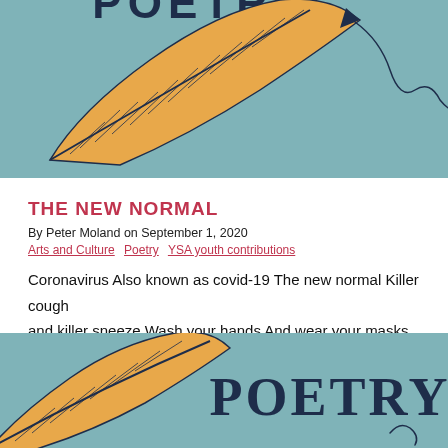[Figure (illustration): Top portion of a poetry book cover illustration: teal/blue background with a large golden/orange feather leaf motif with dark line details, and the word POETRY partially visible at top. A thin curvy line (pen nib trail) extends to the right.]
THE NEW NORMAL
By Peter Moland on September 1, 2020
Arts and Culture  Poetry  YSA youth contributions
Coronavirus Also known as covid-19 The new normal Killer cough and killer sneeze Wash your hands And wear your masks
[Figure (illustration): Bottom portion of a poetry book cover illustration: teal/blue background with a golden/orange feather leaf motif on the left, and the word POETRY in large dark navy serif letters on the right. A small curly element visible at lower right.]